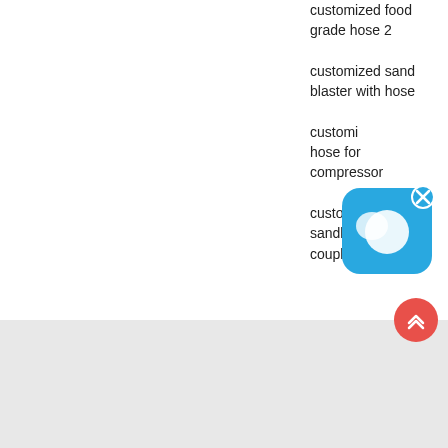customized food grade hose 2
customized sand blaster with hose
customized hose for compressor
customized sandblast hose couplings
[Figure (other): Chat support bubble icon with close button overlay]
Copyright © 2021. Rubber Hose All Rights Reserved.